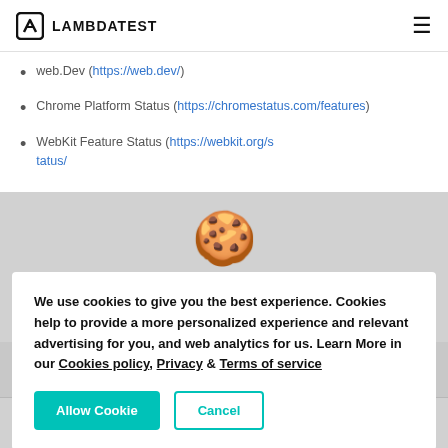LAMBDATEST
web.Dev (https://web.dev/)
Chrome Platform Status (https://chromestatus.com/features)
WebKit Feature Status (https://webkit.org/status/)
We use cookies to give you the best experience. Cookies help to provide a more personalized experience and relevant advertising for you, and web analytics for us. Learn More in our Cookies policy, Privacy & Terms of service
Allow Cookie   Cancel
(character) unit